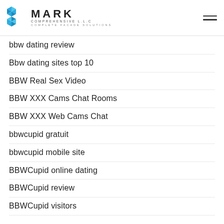MARK COMPREHENSIVE L.L.C — COMPLETE FACADE SOLUTIONS
bbw dating review
Bbw dating sites top 10
BBW Real Sex Video
BBW XXX Cams Chat Rooms
BBW XXX Web Cams Chat
bbwcupid gratuit
bbwcupid mobile site
BBWCupid online dating
BBWCupid review
BBWCupid visitors